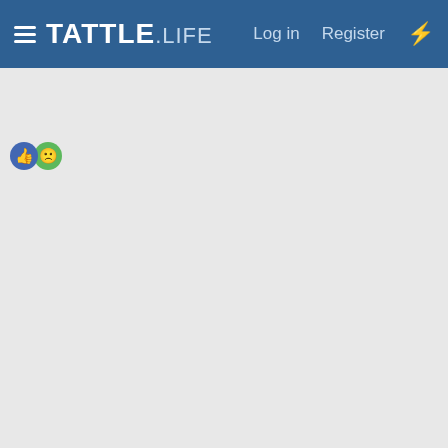TATTLE.life  Log in  Register
5